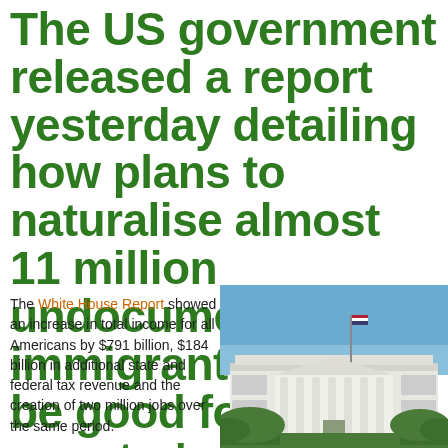The US government released a report yesterday detailing how plans to naturalise almost 11 million undocumented immigrants would be good for the country's economy.
The White House Report showed an increase in total income for all Americans by $791 billion, $184 billion in additional state and federal tax revenue and the creation of two million jobs over the same period.
[Figure (photo): Photo of the White House exterior showing the south portico with white columns, flag on top, and blue sky with trees in foreground]